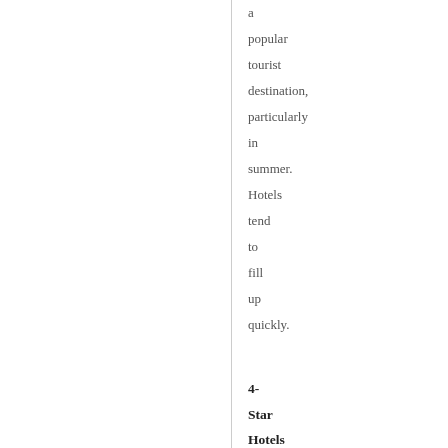a popular tourist destination, particularly in summer. Hotels tend to fill up quickly.
4-Star Hotels ****
Derag Livinghotel Kaiser Franz Joseph - *closest to